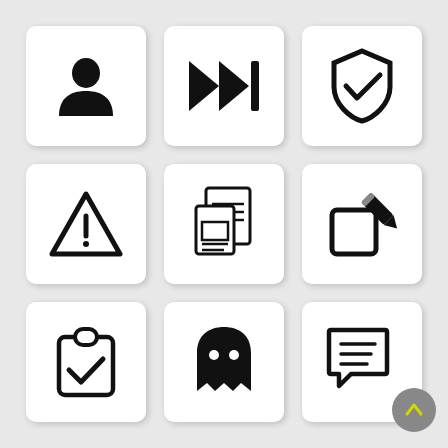[Figure (illustration): 3x3 grid of UI icons: user/person, fast-forward, shield-check, warning triangle, document/news, edit/pencil-on-square, clipboard-check, ghost, chat-bubble with lines; plus a scroll-up button overlay]
[Figure (illustration): Person/user silhouette icon]
[Figure (illustration): Fast-forward double arrow icon]
[Figure (illustration): Shield with checkmark icon]
[Figure (illustration): Warning triangle with exclamation mark icon]
[Figure (illustration): Document/news icon]
[Figure (illustration): Edit/pencil on square icon]
[Figure (illustration): Clipboard with checkmark icon]
[Figure (illustration): Ghost icon]
[Figure (illustration): Chat bubble with lines icon and scroll-up overlay button]